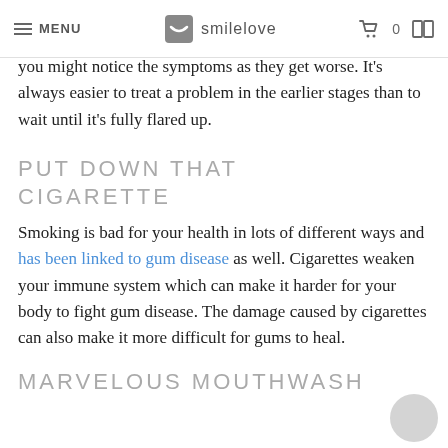MENU | smilelove | 0
you might notice the symptoms as they get worse. It's always easier to treat a problem in the earlier stages than to wait until it's fully flared up.
PUT DOWN THAT CIGARETTE
Smoking is bad for your health in lots of different ways and has been linked to gum disease as well. Cigarettes weaken your immune system which can make it harder for your body to fight gum disease. The damage caused by cigarettes can also make it more difficult for gums to heal.
MARVELOUS MOUTHWASH